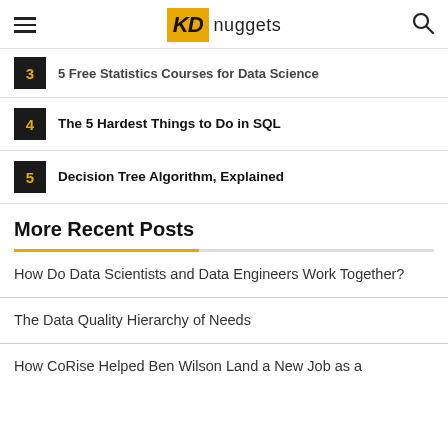KD nuggets
3 Free Statistics Courses for Data Science
The 5 Hardest Things to Do in SQL
Decision Tree Algorithm, Explained
More Recent Posts
How Do Data Scientists and Data Engineers Work Together?
The Data Quality Hierarchy of Needs
How CoRise Helped Ben Wilson Land a New Job as a